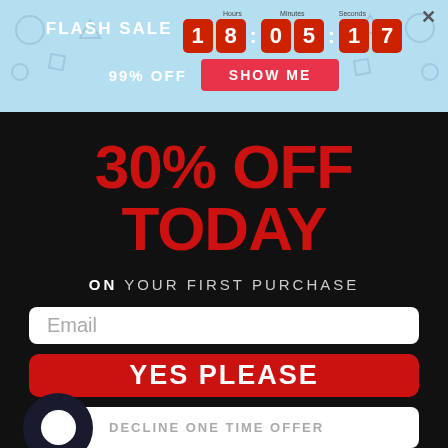[Figure (screenshot): Flash sale banner with countdown timer showing 18:05:17 and 99% OFF label with SHOW ME button on light blue background]
30% OFF TODAY
ON YOUR FIRST PURCHASE
Email (input field placeholder)
YES PLEASE (button)
DECLINE ONE TIME OFFER